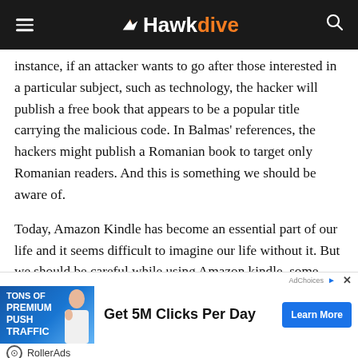Hawkdive
instance, if an attacker wants to go after those interested in a particular subject, such as technology, the hacker will publish a free book that appears to be a popular title carrying the malicious code. In Balmas’ references, the hackers might publish a Romanian book to target only Romanian readers. And this is something we should be aware of.
Today, Amazon Kindle has become an essential part of our life and it seems difficult to imagine our life without it. But we should be careful while using Amazon kindle, some small ives from us can save us from hackers. Always
[Figure (infographic): Advertisement banner: RollerAds ad showing 'TONS OF PREMIUM PUSH TRAFFIC' text with a woman image, headline 'Get 5M Clicks Per Day' and blue 'Learn More' button]